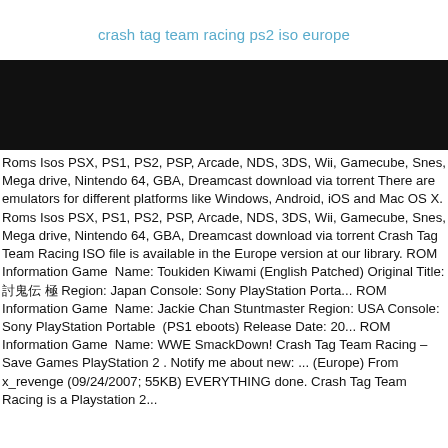crash tag team racing ps2 iso europe
[Figure (other): Black banner/header image area]
Roms Isos PSX, PS1, PS2, PSP, Arcade, NDS, 3DS, Wii, Gamecube, Snes, Mega drive, Nintendo 64, GBA, Dreamcast download via torrent There are emulators for different platforms like Windows, Android, iOS and Mac OS X. Roms Isos PSX, PS1, PS2, PSP, Arcade, NDS, 3DS, Wii, Gamecube, Snes, Mega drive, Nintendo 64, GBA, Dreamcast download via torrent Crash Tag Team Racing ISO file is available in the Europe version at our library. ROM Information Game  Name: Toukiden Kiwami (English Patched) Original Title: 討鬼伝 極 Region: Japan Console: Sony PlayStation Porta... ROM Information Game  Name: Jackie Chan Stuntmaster Region: USA Console: Sony PlayStation Portable  (PS1 eboots) Release Date: 20... ROM Information Game  Name: WWE SmackDown! Crash Tag Team Racing – Save Games PlayStation 2 . Notify me about new: ... (Europe) From x_revenge (09/24/2007; 55KB) EVERYTHING done. Crash Tag Team Racing is a Playstation 2...